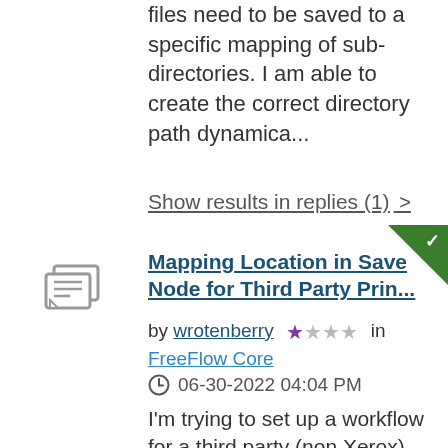files need to be saved to a specific mapping of sub-directories. I am able to create the correct directory path dynamica...
Show results in replies (1) >
[Figure (illustration): Green triangle badge with white checkmark in top-right corner, indicating answered/accepted post]
[Figure (illustration): Forum post icon: two overlapping speech/document bubbles]
Mapping Location in Save Node for Third Party Prin...
by wrotenberry ★☆☆☆ in FreeFlow Core
06-30-2022 04:04 PM
I'm trying to set up a workflow for a third party (non Xerox) printer using the "Save" node. When I put in the path to the hot folder of the printer in the "File